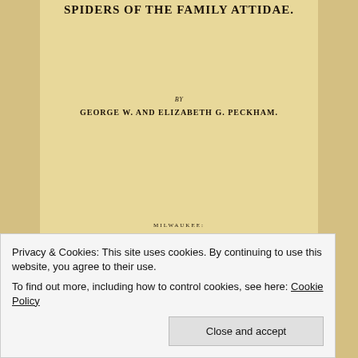SPIDERS OF THE FAMILY ATTIDAE.
BY
GEORGE W. AND ELIZABETH G. PECKHAM.
MILWAUKEE:
Privacy & Cookies: This site uses cookies. By continuing to use this website, you agree to their use. To find out more, including how to control cookies, see here: Cookie Policy
Close and accept